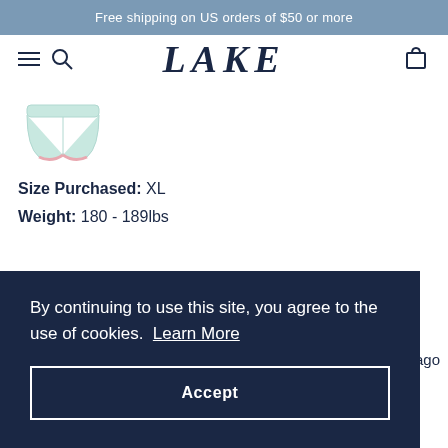Free shipping on US orders of $50 or more
LAKE
[Figure (photo): Light mint/pale green shorts with pink trim, product thumbnail image]
Size Purchased: XL
Weight: 180 - 189lbs
By continuing to use this site, you agree to the use of cookies. Learn More
Accept